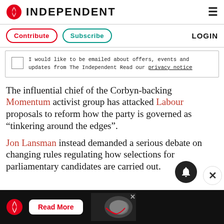INDEPENDENT
Contribute  Subscribe  LOGIN
I would like to be emailed about offers, events and updates from The Independent Read our privacy notice
The influential chief of the Corbyn-backing Momentum activist group has attacked Labour proposals to reform how the party is governed as “tinkering around the edges”.
Jon Lansman instead demanded a serious debate on changing rules regulating how selections for parliamentary candidates are carried out.
[Figure (other): Advertisement banner at bottom with The Independent logo, Read More button, and world map graphic]